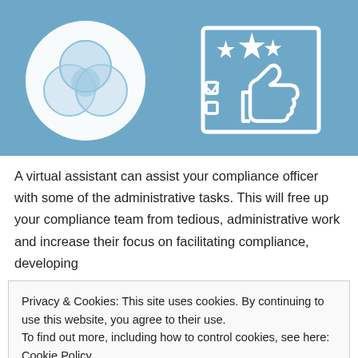[Figure (illustration): Blue banner with two white icons: left shows overlapping circles inside a large circle (Venn diagram style), right shows a checklist/form with stars and a thumbs-up hand icon.]
A virtual assistant can assist your compliance officer with some of the administrative tasks. This will free up your compliance team from tedious, administrative work and increase their focus on facilitating compliance, developing
Privacy & Cookies: This site uses cookies. By continuing to use this website, you agree to their use.
To find out more, including how to control cookies, see here: Cookie Policy
Close and accept